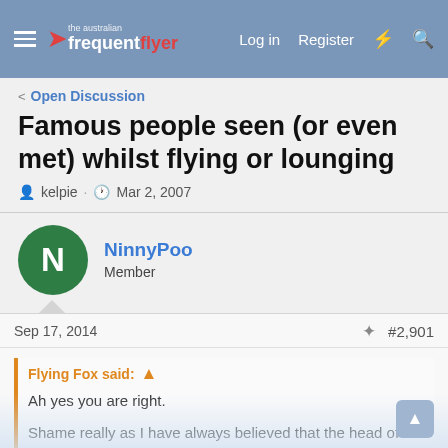the australian frequent flyer — Log in | Register
< Open Discussion
Famous people seen (or even met) whilst flying or lounging
kelpie · Mar 2, 2007
NinnyPoo
Member
Sep 17, 2014   #2,901
Flying Fox said: ↑

Ah yes you are right.

Shame really as I have always believed that the head of a company needs to meet its customers otherwise he/she risks losing touch with the people that are spending their dollars with the company.